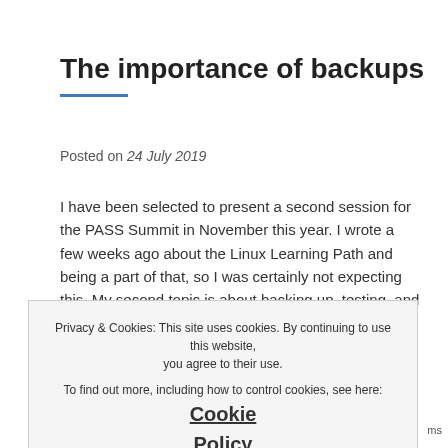The importance of backups
Posted on 24 July 2019
I have been selected to present a second session for the PASS Summit in November this year. I wrote a few weeks ago about the Linux Learning Path and being a part of that, so I was certainly not expecting this. My second topic is about backing up, testing, and restoring SQL Server backups if
-> Continue reading
Tagged Backup Backups Beginner Careers Disaster
Privacy & Cookies: This site uses cookies. By continuing to use this website, you agree to their use.
To find out more, including how to control cookies, see here: Cookie Policy
Close and accept